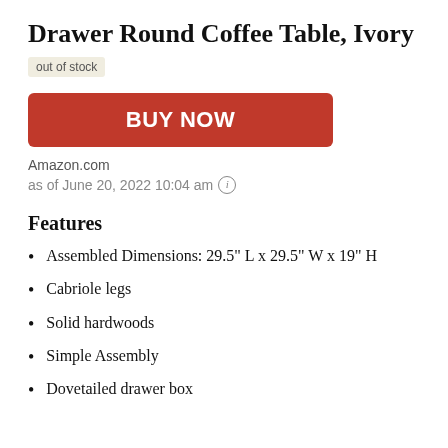Drawer Round Coffee Table, Ivory
out of stock
BUY NOW
Amazon.com
as of June 20, 2022 10:04 am
Features
Assembled Dimensions: 29.5" L x 29.5" W x 19" H
Cabriole legs
Solid hardwoods
Simple Assembly
Dovetailed drawer box